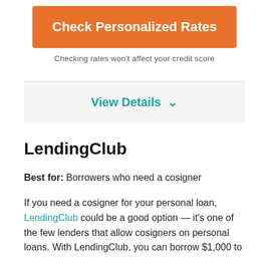[Figure (other): Orange button labeled 'Check Personalized Rates']
Checking rates won't affect your credit score
View Details ∨
LendingClub
Best for: Borrowers who need a cosigner
If you need a cosigner for your personal loan, LendingClub could be a good option — it's one of the few lenders that allow cosigners on personal loans. With LendingClub, you can borrow $1,000 to